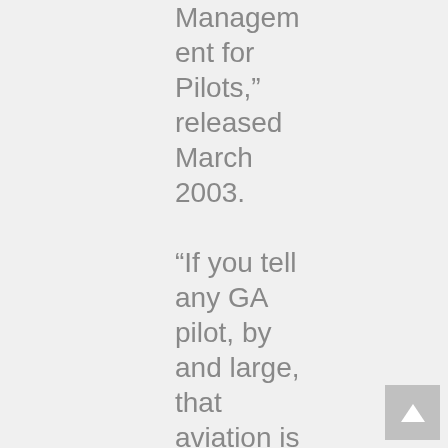Management for Pilots," released March 2003.

“If you tell any GA pilot, by and large, that aviation is risky and unsafe, they will argue with you," said